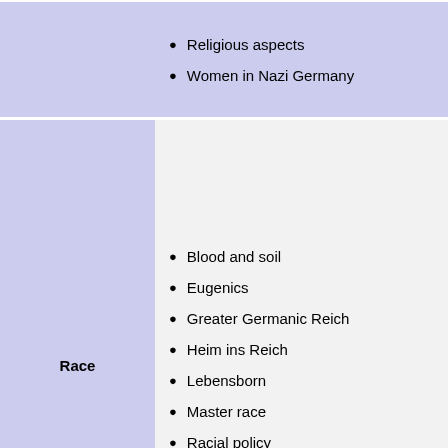Religious aspects
Women in Nazi Germany
Race
Blood and soil
Eugenics
Greater Germanic Reich
Heim ins Reich
Lebensborn
Master race
Racial policy
Religion
Atrocities and war crimes
Action T4
Nazi concentration camps
Extermination camp
Final Solution
Human experimentation
Romani genocide
Arrow Cross Party (Hungary)